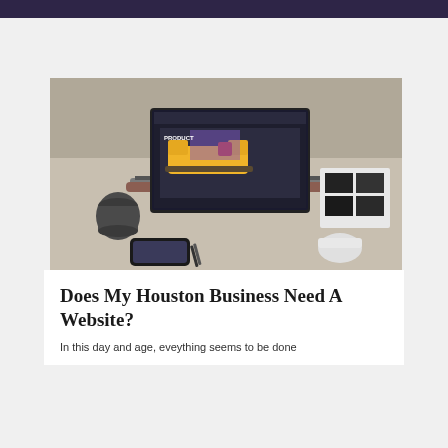[Figure (photo): A laptop computer on a desk displaying a furniture product website with a yellow sofa. A coffee mug, smartphone, mouse, pen, and printed materials are visible on the desk around the laptop.]
Does My Houston Business Need A Website?
In this day and age, eventshing seems to be done